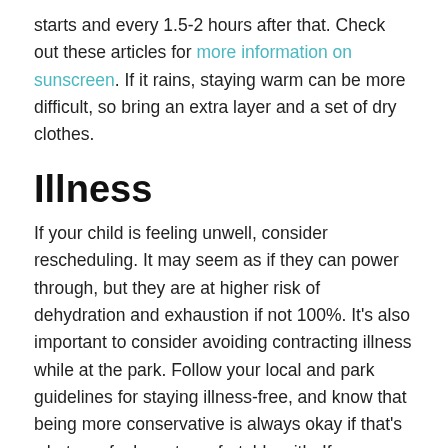starts and every 1.5-2 hours after that. Check out these articles for more information on sunscreen. If it rains, staying warm can be more difficult, so bring an extra layer and a set of dry clothes.
Illness
If your child is feeling unwell, consider rescheduling. It may seem as if they can power through, but they are at higher risk of dehydration and exhaustion if not 100%. It's also important to consider avoiding contracting illness while at the park. Follow your local and park guidelines for staying illness-free, and know that being more conservative is always okay if that's what you feel most comfortable with. If you can carry hand sanitizer to use before/after a ride or cleaning wipes for the parts of the rides your child may touch, consider doing so. The park may also have protocols in place, so check out their website for more instructions.